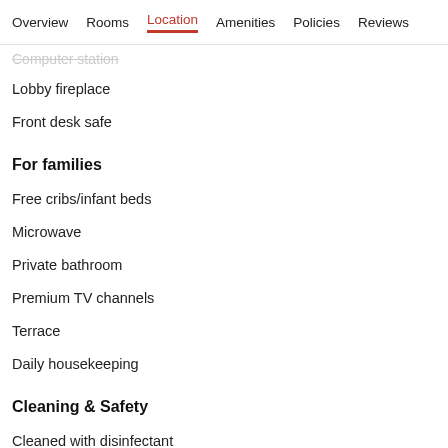Overview  Rooms  Location  Amenities  Policies  Reviews
Computer station
Lobby fireplace
Front desk safe
For families
Free cribs/infant beds
Microwave
Private bathroom
Premium TV channels
Terrace
Daily housekeeping
Cleaning & Safety
Cleaned with disinfectant
Contactless check-in
Hand sanitizer provided
Personal protective equipment